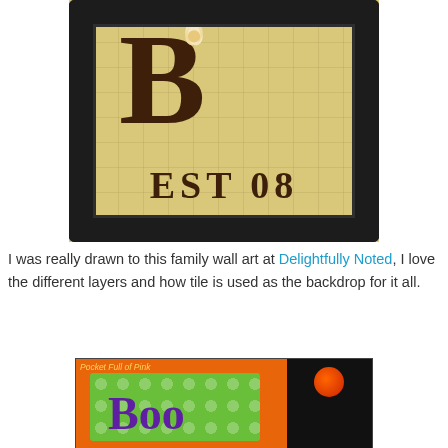[Figure (photo): A decorative framed wall art piece with a tile mosaic backdrop showing a large letter B and the text EST 08, with a flower embellishment at top, in a black frame.]
I was really drawn to this family wall art at Delightfully Noted, I love the different layers and how tile is used as the backdrop for it all.
[Figure (photo): A Halloween-themed craft photo from Pocket Full of Pink blog showing a green polka dot fabric with the word Boo in purple letters against an orange and black background with a pumpkin.]